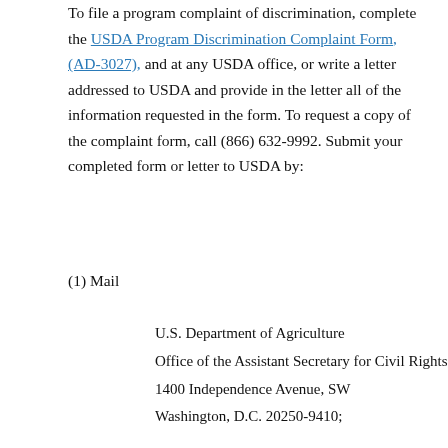To file a program complaint of discrimination, complete the USDA Program Discrimination Complaint Form, (AD-3027), and at any USDA office, or write a letter addressed to USDA and provide in the letter all of the information requested in the form. To request a copy of the complaint form, call (866) 632-9992. Submit your completed form or letter to USDA by:
(1) Mail
U.S. Department of Agriculture
Office of the Assistant Secretary for Civil Rights
1400 Independence Avenue, SW
Washington, D.C. 20250-9410;